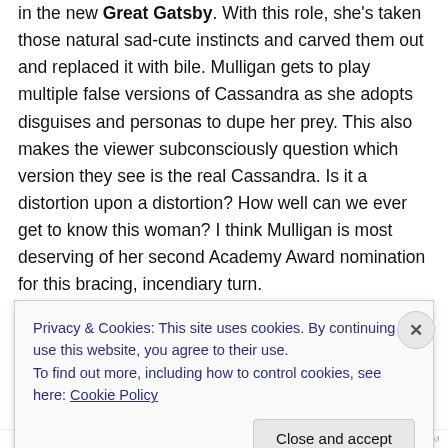in the new Great Gatsby. With this role, she's taken those natural sad-cute instincts and carved them out and replaced it with bile. Mulligan gets to play multiple false versions of Cassandra as she adopts disguises and personas to dupe her prey. This also makes the viewer subconsciously question which version they see is the real Cassandra. Is it a distortion upon a distortion? How well can we ever get to know this woman? I think Mulligan is most deserving of her second Academy Award nomination for this bracing, incendiary turn.
This is Fennell's directorial debut and it will not be her last
Privacy & Cookies: This site uses cookies. By continuing to use this website, you agree to their use.
To find out more, including how to control cookies, see here: Cookie Policy